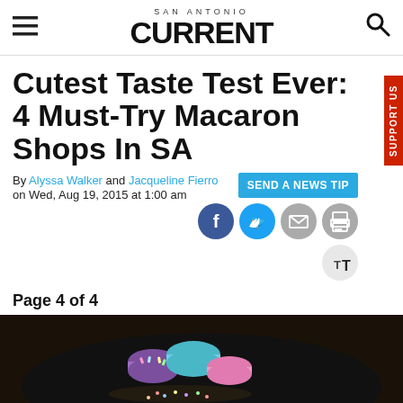SAN ANTONIO CURRENT
Cutest Taste Test Ever: 4 Must-Try Macaron Shops In SA
By Alyssa Walker and Jacqueline Fierro on Wed, Aug 19, 2015 at 1:00 am
SEND A NEWS TIP
SUPPORT US
Page 4 of 4
[Figure (photo): Photo of colorful macarons on a dark plate/bowl background]